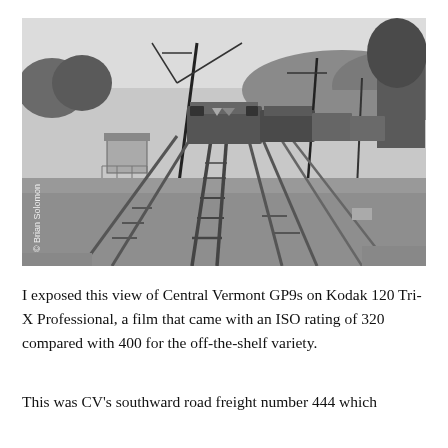[Figure (photo): Black and white photograph of Central Vermont GP9 locomotives on a multi-track railway yard. Tracks converge toward the middle of the frame. Utility poles, trees, hills, and a small shed visible in background. Copyright watermark reads '© Brian Solomon' along left edge.]
I exposed this view of Central Vermont GP9s on Kodak 120 Tri-X Professional, a film that came with an ISO rating of 320 compared with 400 for the off-the-shelf variety.
This was CV's southward road freight number 444 which